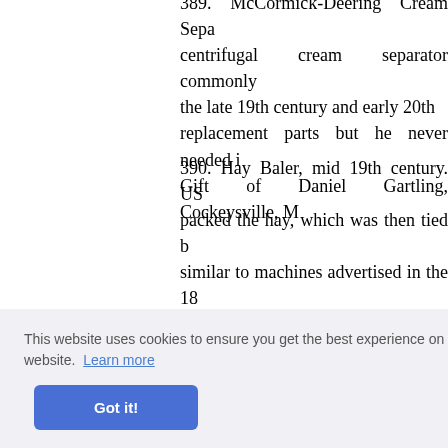389. McCormick-Deering Cream Separator centrifugal cream separator commonly used in the late 19th century and early 20th century replacement parts but he never needed it. Gift of Daniel Gartling, Cockeysville, M[d.]
390. Hay Baler, mid 19th century. US[A.] packed the hay, which was then tied b[y] similar to machines advertised in the 18[80s] John Hosford, Stone Ridge, New York.
391. Grass Sickles, about 1884. Receiv[ed from] Bean, Barnridge, Pennsylvania, in 18[84.] Smithsonian Institution.
Received [from] Smithsoni[an]
ion Bit, Connect[icut] Anthropology, Smithsonian Institution.
[Figure (screenshot): Cookie consent banner overlay with text 'This website uses cookies to ensure you get the best experience on our website. Learn more' and a blue 'Got it!' button.]